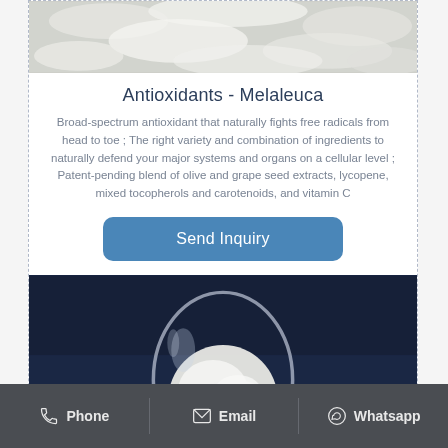[Figure (photo): Top portion of a white/gray fibrous powder material product photo]
Antioxidants - Melaleuca
Broad-spectrum antioxidant that naturally fights free radicals from head to toe ; The right variety and combination of ingredients to naturally defend your major systems and organs on a cellular level ; Patent-pending blend of olive and grape seed extracts, lycopene, mixed tocopherols and carotenoids, and vitamin C
[Figure (photo): White powder in a glass spoon on dark navy blue background]
Phone   Email   Whatsapp